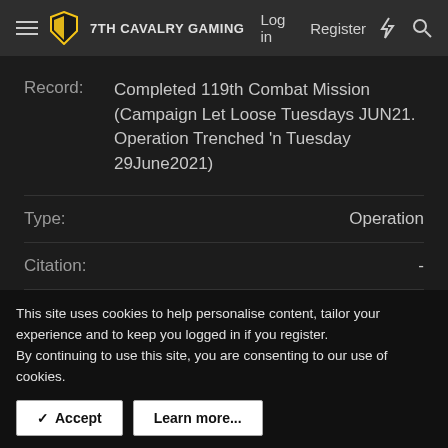7TH CAVALRY GAMING  Log in  Register
Record: Completed 119th Combat Mission (Campaign Let Loose Tuesdays JUN21. Operation Trenched 'n Tuesday 29June2021)
Type: Operation
Citation: -
Date: 2021-06-22
This site uses cookies to help personalise content, tailor your experience and to keep you logged in if you register.
By continuing to use this site, you are consenting to our use of cookies.
Accept  Learn more...